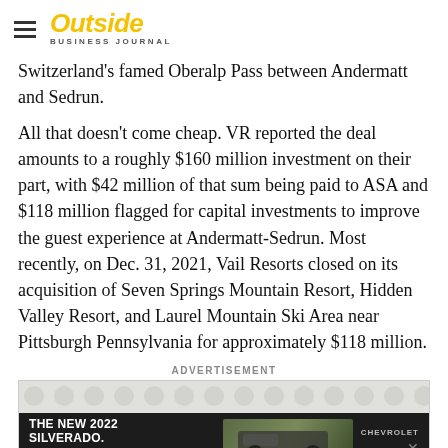Outside Business Journal
Switzerland's famed Oberalp Pass between Andermatt and Sedrun.
All that doesn't come cheap. VR reported the deal amounts to a roughly $160 million investment on their part, with $42 million of that sum being paid to ASA and $118 million flagged for capital investments to improve the guest experience at Andermatt-Sedrun. Most recently, on Dec. 31, 2021, Vail Resorts closed on its acquisition of Seven Springs Mountain Resort, Hidden Valley Resort, and Laurel Mountain Ski Area near Pittsburgh Pennsylvania for approximately $118 million.
ADVERTISEMENT
[Figure (photo): Chevrolet advertisement banner showing 'The New 2022 Silverado.' with an Explore button and Chevrolet logo, overlaid on a dark vehicle image with nature background.]
It's a g...ering